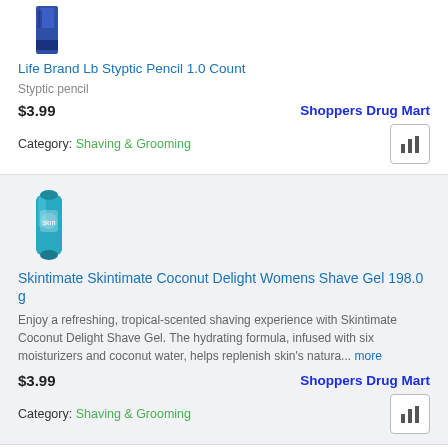[Figure (photo): Small product image of Life Brand Lb Styptic Pencil (dark blue/purple box)]
Life Brand Lb Styptic Pencil 1.0 Count
Styptic pencil
$3.99   Shoppers Drug Mart
Category: Shaving & Grooming
[Figure (photo): Product image of Skintimate Coconut Delight Women's Shave Gel (teal/blue aerosol can)]
Skintimate Skintimate Coconut Delight Womens Shave Gel 198.0 g
Enjoy a refreshing, tropical-scented shaving experience with Skintimate Coconut Delight Shave Gel. The hydrating formula, infused with six moisturizers and coconut water, helps replenish skin's natura... more
$3.99   Shoppers Drug Mart
Category: Shaving & Grooming
[Figure (photo): Partial product image at bottom (pink/striped product)]